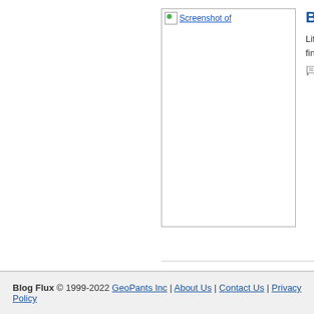[Figure (screenshot): Screenshot placeholder image for Boleh! blog entry]
Boleh! B…
Life of a M… financial fr…
Tags: B…
[Figure (screenshot): Screenshot placeholder image for Modern… blog entry]
Modern…
Simple ide… about how… own every…
Tags: bo…
Blog Flux © 1999-2022 GeoPants Inc | About Us | Contact Us | Privacy Policy